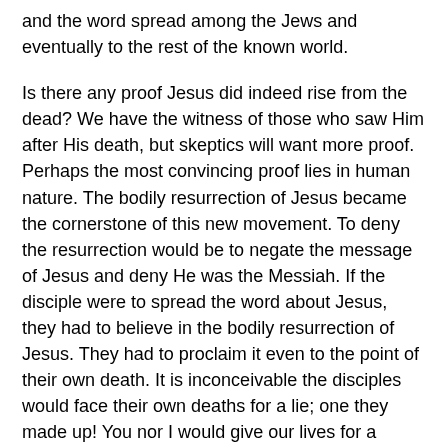and the word spread among the Jews and eventually to the rest of the known world.
Is there any proof Jesus did indeed rise from the dead? We have the witness of those who saw Him after His death, but skeptics will want more proof. Perhaps the most convincing proof lies in human nature. The bodily resurrection of Jesus became the cornerstone of this new movement. To deny the resurrection would be to negate the message of Jesus and deny He was the Messiah. If the disciple were to spread the word about Jesus, they had to believe in the bodily resurrection of Jesus. They had to proclaim it even to the point of their own death. It is inconceivable the disciples would face their own deaths for a lie; one they made up! You nor I would give our lives for a deliberate lie. The fact the disciples all gave their lives for the message of forgiveness and resurrection is all the proof a Christian needs.
Thus Jesus Christ paid the price for our sins and then broke the Devil's hold on us by conquering the fear of death. By Jesus resurrection, believing Christians are assured of a place in eternity with God. Jesus gives us this promise as